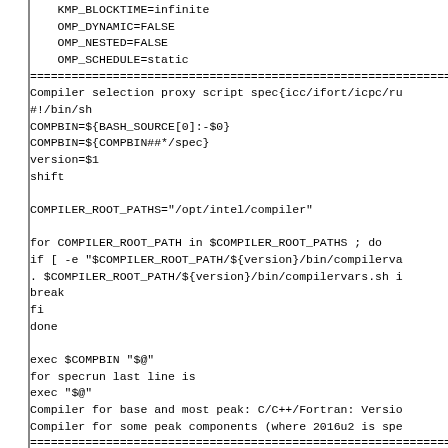KMP_BLOCKTIME=infinite
    OMP_DYNAMIC=FALSE
    OMP_NESTED=FALSE
    OMP_SCHEDULE=static
=======================================================
Compiler selection proxy script spec{icc/ifort/icpc/ru
#!/bin/sh
COMPBIN=${BASH_SOURCE[0]:-$0}
COMPBIN=${COMPBIN##*/spec}
version=$1
shift

COMPILER_ROOT_PATHS="/opt/intel/compiler"

for COMPILER_ROOT_PATH in $COMPILER_ROOT_PATHS ; do
if [ -e "$COMPILER_ROOT_PATH/${version}/bin/compilerva
. $COMPILER_ROOT_PATH/${version}/bin/compilervars.sh i
break
fi
done

exec $COMPBIN "$@"
for specrun last line is
exec "$@"
Compiler for base and most peak: C/C++/Fortran: Versio
Compiler for some peak components (where 2016u2 is spe
=======================================================
351.bwaves:peak:
    ENV_KMP_AFFINITY=compact,1
    ENV_OMP_SCHEDULE=static,1